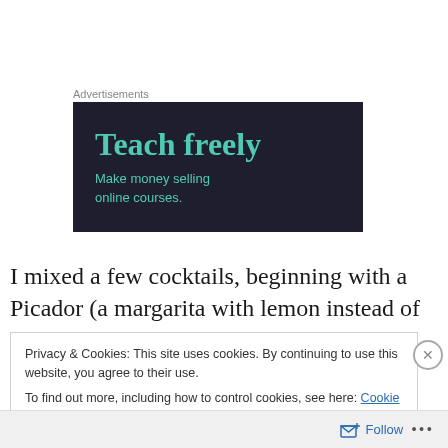Advertisements
[Figure (illustration): Dark navy advertisement banner reading 'Teach freely' in large teal serif font, with subtitle 'Make money selling online courses.' in smaller teal sans-serif font]
I mixed a few cocktails, beginning with a Picador (a margarita with lemon instead of lime), and followed up with
Privacy & Cookies: This site uses cookies. By continuing to use this website, you agree to their use.
To find out more, including how to control cookies, see here: Cookie Policy
Follow ...